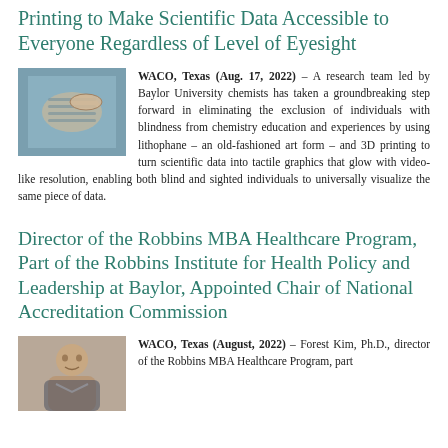Printing to Make Scientific Data Accessible to Everyone Regardless of Level of Eyesight
[Figure (photo): A close-up photo of a hand touching a tactile/braille-like surface, possibly a 3D printed lithophane.]
WACO, Texas (Aug. 17, 2022) – A research team led by Baylor University chemists has taken a groundbreaking step forward in eliminating the exclusion of individuals with blindness from chemistry education and experiences by using lithophane – an old-fashioned art form – and 3D printing to turn scientific data into tactile graphics that glow with video-like resolution, enabling both blind and sighted individuals to universally visualize the same piece of data.
Director of the Robbins MBA Healthcare Program, Part of the Robbins Institute for Health Policy and Leadership at Baylor, Appointed Chair of National Accreditation Commission
[Figure (photo): A portrait photo of Forest Kim, Ph.D., a man in professional attire.]
WACO, Texas (August, 2022) – Forest Kim, Ph.D., director of the Robbins MBA Healthcare Program, part